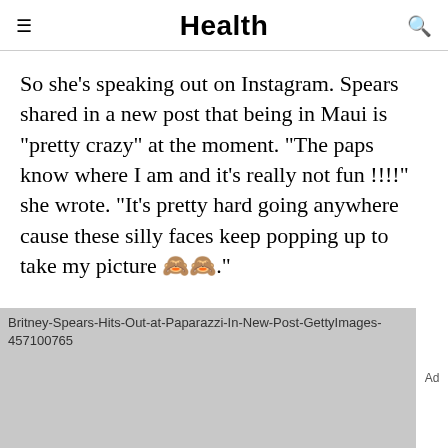Health
So she's speaking out on Instagram. Spears shared in a new post that being in Maui is "pretty crazy" at the moment. "The paps know where I am and it's really not fun !!!!" she wrote. "It's pretty hard going anywhere cause these silly faces keep popping up to take my picture 🙈🙈."
[Figure (photo): Britney-Spears-Hits-Out-at-Paparazzi-In-New-Post-GettyImages-457100765 — placeholder image with grey background]